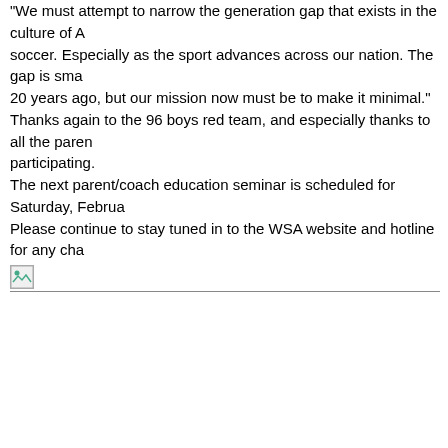"We must attempt to narrow the generation gap that exists in the culture of American soccer.  Especially as the sport advances across our nation.  The gap is smaller than it was 20 years ago, but our mission now must be to make it minimal."
Thanks again to the 96 boys red team, and especially thanks to all the parents for participating.
The next parent/coach education seminar is scheduled for Saturday, February
Please continue to stay tuned in to the WSA website and hotline for any chan
[Figure (photo): Small broken/placeholder image icon in the top-left of an image area, followed by a horizontal divider line]